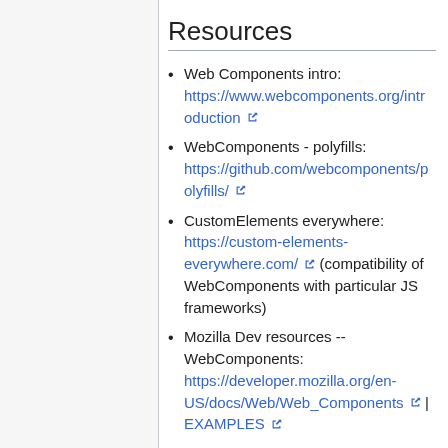Resources
Web Components intro: https://www.webcomponents.org/introduction
WebComponents - polyfills: https://github.com/webcomponents/polyfills/
CustomElements everywhere: https://custom-elements-everywhere.com/ (compatibility of WebComponents with particular JS frameworks)
Mozilla Dev resources -- WebComponents: https://developer.mozilla.org/en-US/docs/Web/Web_Components | EXAMPLES
Google developers -- Custom Element Best Practices: